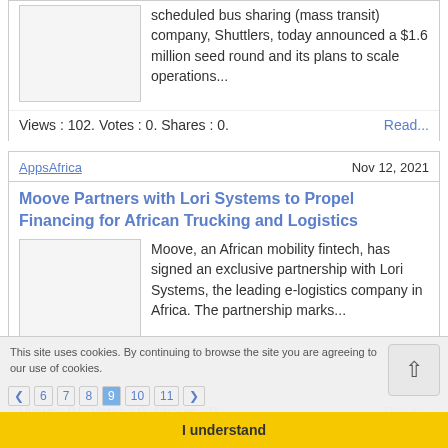scheduled bus sharing (mass transit) company, Shuttlers, today announced a $1.6 million seed round and its plans to scale operations...
Views : 102. Votes : 0. Shares : 0.
Read...
AppsAfrica
Nov 12, 2021
Moove Partners with Lori Systems to Propel Financing for African Trucking and Logistics
Moove, an African mobility fintech, has signed an exclusive partnership with Lori Systems, the leading e-logistics company in Africa. The partnership marks...
Views : 91. Votes : 0. Shares : 0.
Read...
This site uses cookies. By continuing to browse the site you are agreeing to our use of cookies.
I understand